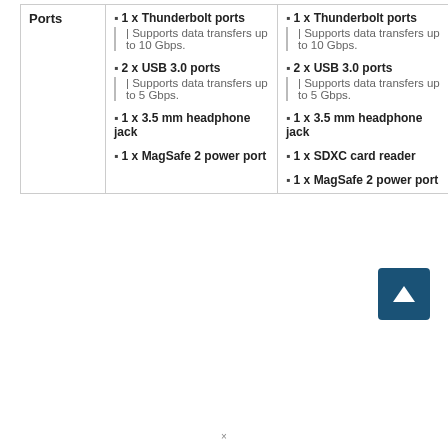|  | Column 1 | Column 2 |
| --- | --- | --- |
| Ports | ▪ 1 x Thunderbolt ports | Supports data transfers up to 10 Gbps.
▪ 2 x USB 3.0 ports | Supports data transfers up to 5 Gbps.
▪ 1 x 3.5 mm headphone jack
▪ 1 x MagSafe 2 power port | ▪ 1 x Thunderbolt ports | Supports data transfers up to 10 Gbps.
▪ 2 x USB 3.0 ports | Supports data transfers up to 5 Gbps.
▪ 1 x 3.5 mm headphone jack
▪ 1 x SDXC card reader
▪ 1 x MagSafe 2 power port |
[Figure (other): Scroll-to-top button (dark blue square with upward triangle arrow)]